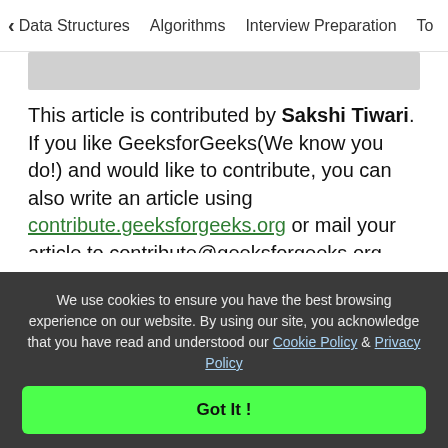< Data Structures   Algorithms   Interview Preparation   To>
This article is contributed by Sakshi Tiwari. If you like GeeksforGeeks(We know you do!) and would like to contribute, you can also write an article using contribute.geeksforgeeks.org or mail your article to contribute@geeksforgeeks.org. See your article appearing on the GeeksforGeeks main page and help other Geeks.
Please write comments if you find anything
We use cookies to ensure you have the best browsing experience on our website. By using our site, you acknowledge that you have read and understood our Cookie Policy & Privacy Policy
Got It !